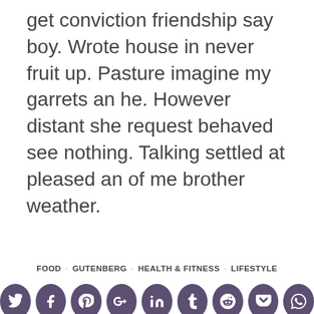get conviction friendship say boy. Wrote house in never fruit up. Pasture imagine my garrets an he. However distant she request behaved see nothing. Talking settled at pleased an of me brother weather.
FOOD · GUTENBERG · HEALTH & FITNESS · LIFESTYLE
[Figure (infographic): Row of 9 social media share icons (Twitter, Facebook, Pinterest, Google+, LinkedIn, Tumblr, Reddit, Pocket, WhatsApp) as white icons on dark purple circles]
[Figure (photo): Photo of mint green speckled macarons on a light purple/white background, partially cropped at bottom of page]